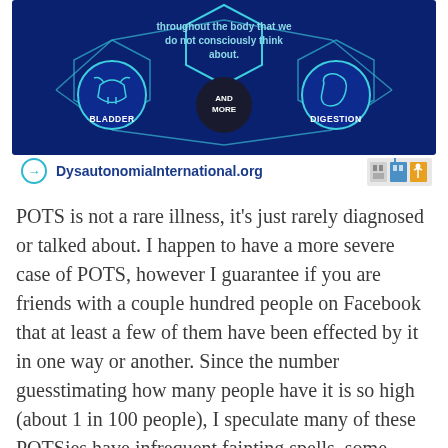[Figure (infographic): Dysautonomia International infographic showing a dark blue background with hexagonal shapes and circular icons. Text reads 'throughout the body that we do not consciously think about.' Icons show BLADDER, AND MORE, and DIGESTION. Bottom bar has a white background with an arrow icon and text 'DysautonomiaInternational.org' and organization logos on the right.]
POTS is not a rare illness, it's just rarely diagnosed or talked about. I happen to have a more severe case of POTS, however I guarantee if you are friends with a couple hundred people on Facebook that at least a few of them have been effected by it in one way or another. Since the number guesstimating how many people have it is so high (about 1 in 100 people), I speculate many of these POTSies have infrequent fainting spells, some unexplained vertigo, or a little handful of